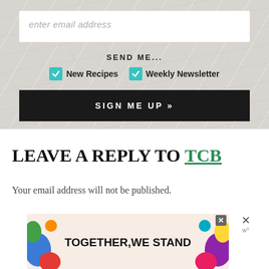[Figure (screenshot): Email signup widget on marble background with email input field, SEND ME... label, two teal checkboxes for New Recipes and Weekly Newsletter, and a black SIGN ME UP button]
LEAVE A REPLY TO TCB
Your email address will not be published.
[Figure (infographic): Advertisement banner reading TOGETHER, WE STAND with colorful shapes on left and right sides, close button]